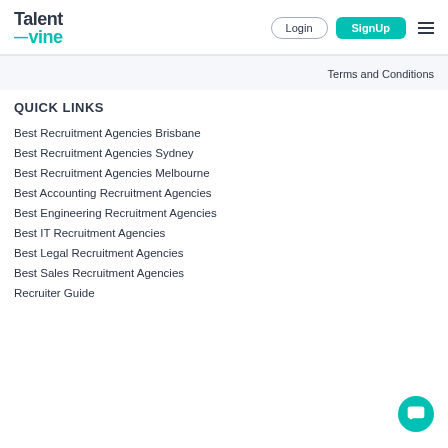TalentVine | Login | SignUp
Terms and Conditions
QUICK LINKS
Best Recruitment Agencies Brisbane
Best Recruitment Agencies Sydney
Best Recruitment Agencies Melbourne
Best Accounting Recruitment Agencies
Best Engineering Recruitment Agencies
Best IT Recruitment Agencies
Best Legal Recruitment Agencies
Best Sales Recruitment Agencies
Recruiter Guide